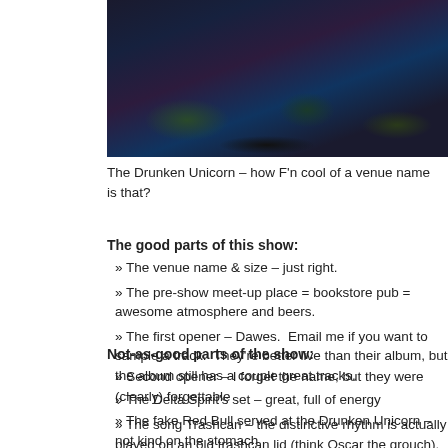[Figure (photo): Concert crowd photo taken at The Drunken Unicorn venue, dark atmosphere with green/teal stage lighting and silhouettes of people]
The Drunken Unicorn – how F'n cool of a venue name is that?
The good parts of this show:
» The venue name & size – just right.
» The pre-show meet-up place = bookstore pub = awesome atmosphere and beers.
» The first opener – Dawes.  Email me if you want to sample a track.  They're better live than their album, but the album still has a couple great tracks.
» The Delta Spirit's set – great, full of energy
» The song Trashcan – the distinctive rhythm is actually played on an old trashcan lid (think Oscar the grouch).
Not-as-good parts of the show:
» Second opener – I forget the name, but they were (clearly) forgettable
» The fake Red Bull served at the Drunken Unicorn – not kind on the stomach
» The LATE start time of the headliner on a weeknight – I don't think they started until around midnight, and I'm old.